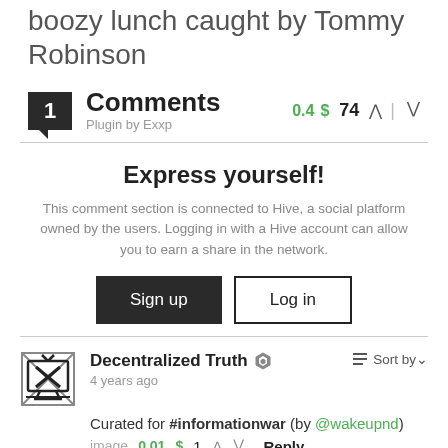boozy lunch caught by Tommy Robinson
1 Comments
Plugin by Exxp
0.4 $ 74
Express yourself!
This comment section is connected to Hive, a social platform owned by the users. Logging in with a Hive account can allow you to earn a share in the network.
Sign up  Log in
Decentralized Truth  4 years ago
Curated for #informationwar (by @wakeupnd)
image 0.01 $  1  Reply